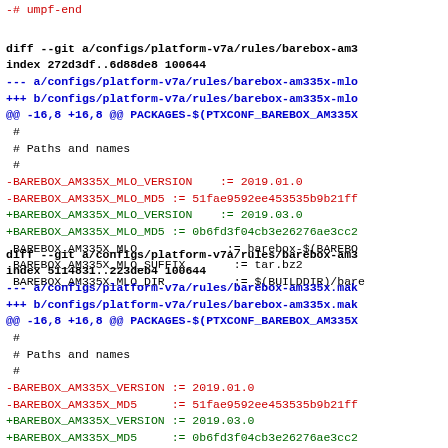diff code block: barebox-am335x-mlo rules file and barebox-am335x rules file git diff patches showing version changes from 2019.01.0 to 2019.03.0
-# umpf-end
diff --git a/configs/platform-v7a/rules/barebox-am3...
index 272d3df..6d88de8 100644
--- a/configs/platform-v7a/rules/barebox-am335x-mlo
+++ b/configs/platform-v7a/rules/barebox-am335x-mlo
@@ -16,8 +16,8 @@ PACKAGES-$(PTXCONF_BAREBOX_AM335X
#
  # Paths and names
  #
-BAREBOX_AM335X_MLO_VERSION    := 2019.01.0
-BAREBOX_AM335X_MLO_MD5 := 51fae9592ee453535b9b21ff
+BAREBOX_AM335X_MLO_VERSION    := 2019.03.0
+BAREBOX_AM335X_MLO_MD5 := 0b6fd3f04cb3e26276ae3cc2
BAREBOX_AM335X_MLO             := barebox-$(BAREBO
BAREBOX_AM335X_MLO_SUFFIX       := tar.bz2
BAREBOX_AM335X_MLO_DIR          := $(BUILDDIR)/bare
diff --git a/configs/platform-v7a/rules/barebox-am3...
index 5114831..223deb4 100644
--- a/configs/platform-v7a/rules/barebox-am335x.mak
+++ b/configs/platform-v7a/rules/barebox-am335x.mak
@@ -16,8 +16,8 @@ PACKAGES-$(PTXCONF_BAREBOX_AM335X
#
  # Paths and names
  #
-BAREBOX_AM335X_VERSION := 2019.01.0
-BAREBOX_AM335X_MD5     := 51fae9592ee453535b9b21ff
+BAREBOX_AM335X_VERSION := 2019.03.0
+BAREBOX_AM335X_MD5     := 0b6fd3f04cb3e26276ae3cc2